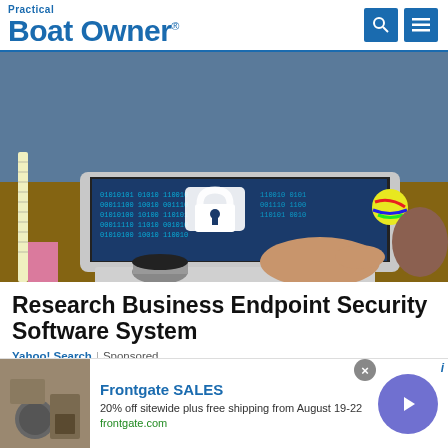Practical Boat Owner
[Figure (photo): Person typing on a laptop with a cybersecurity lock icon displayed on screen showing binary code on a blue background]
Research Business Endpoint Security Software System
Yahoo! Search | Sponsored
[Figure (infographic): Frontgate SALES advertisement: 20% off sitewide plus free shipping from August 19-22. frontgate.com]